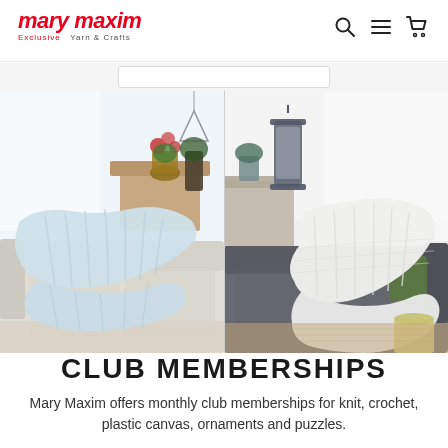mary maxim — Exclusive Yarn & Crafts
[Figure (photo): Two side-by-side photos showing knit/crochet blankets draped over sofas in bright home settings. Left: light blue ribbed knit blanket on a beige sofa with plants in background. Right: white textured crochet blanket on a dark grey sofa with a lantern and candle in background.]
CLUB MEMBERSHIPS
Mary Maxim offers monthly club memberships for knit, crochet, plastic canvas, ornaments and puzzles.